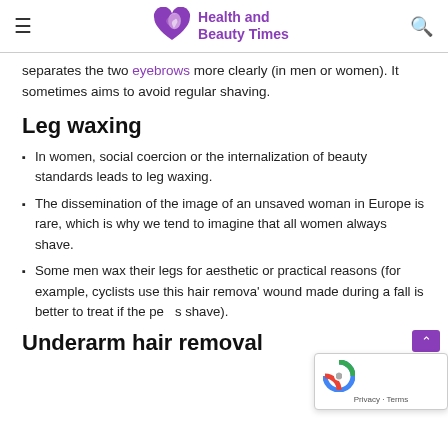Health and Beauty Times
separates the two eyebrows more clearly (in men or women). It sometimes aims to avoid regular shaving.
Leg waxing
In women, social coercion or the internalization of beauty standards leads to leg waxing.
The dissemination of the image of an unsaved woman in Europe is rare, which is why we tend to imagine that all women always shave.
Some men wax their legs for aesthetic or practical reasons (for example, cyclists use this hair remova' wound made during a fall is better to treat if the per s shave).
Underarm hair removal